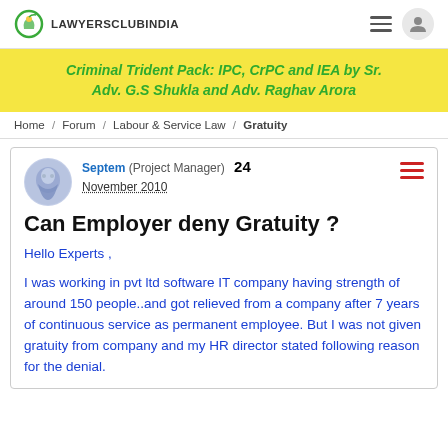LAWYERSCLUBINDIA
[Figure (infographic): Lawyers Club India logo with leaf/flower icon]
Criminal Trident Pack: IPC, CrPC and IEA by Sr. Adv. G.S Shukla and Adv. Raghav Arora
Home / Forum / Labour & Service Law / Gratuity
Septem (Project Manager) 24
November 2010
Can Employer deny Gratuity ?
Hello Experts ,

I was working in pvt ltd software IT company having strength of around 150 people..and got relieved from a company after 7 years of continuous service as permanent employee. But I was not given gratuity from company and my HR director stated following reason for the denial.